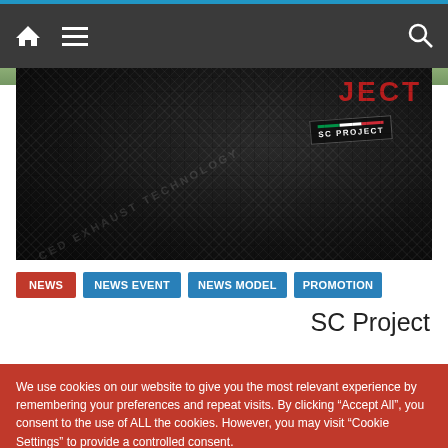Navigation bar with home, menu, and search icons
[Figure (photo): Close-up of SC Project carbon fiber exhaust with Italian flag stripe logo badge and partial text reading 'ICED EXHAUST TECHNOLOGY' and 'PROJECT' in red letters]
NEWS
NEWS EVENT
NEWS MODEL
PROMOTION
SC Project
We use cookies on our website to give you the most relevant experience by remembering your preferences and repeat visits. By clicking “Accept All”, you consent to the use of ALL the cookies. However, you may visit “Cookie Settings” to provide a controlled consent.
Cookie Settings
Accept All